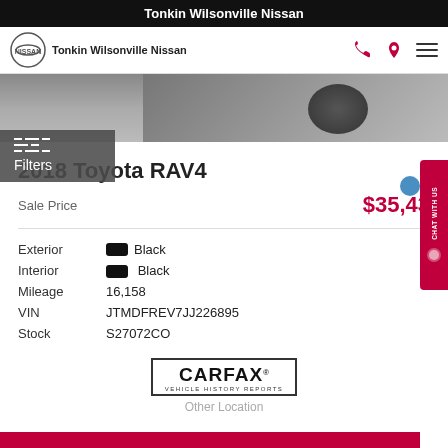Tonkin Wilsonville Nissan
[Figure (screenshot): Navigation bar with Nissan logo, Tonkin Wilsonville Nissan brand name, phone icon, location pin icon, and hamburger menu]
[Figure (photo): Partial rear view of a black Toyota RAV4 in a parking lot]
Filters
2018 Toyota RAV4
Sale Price $35,43...
| Exterior | Black |
| Interior | Black |
| Mileage | 16,158 |
| VIN | JTMDFREV7JJ226895 |
| Stock | S27072CO |
[Figure (logo): CARFAX Vehicle History Reports logo]
Other Location